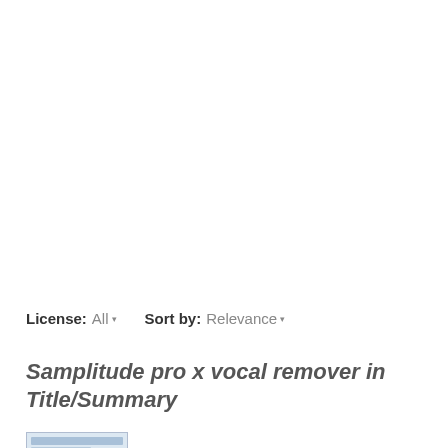License: All ▾    Sort by: Relevance ▾
Samplitude pro x vocal remover in Title/Summary
Vocal Remover Pro